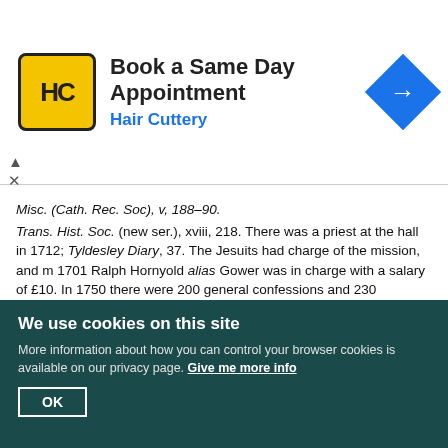[Figure (other): Hair Cuttery advertisement banner with logo and 'Book a Same Day Appointment' text]
Misc. (Cath. Rec. Soc), v, 188–90. Trans. Hist. Soc. (new ser.), xviii, 218. There was a priest at the hall in 1712; Tyldesley Diary, 37. The Jesuits had charge of the mission, and m 1701 Ralph Hornyold alias Gower was in charge with a salary of £10. In 1750 there were 200 general confessions and 230 'customers,' while in 1793 there were 250 Easter communicants and 75 persons were confirmed; Foley, Rec. S. J. v, 320–5. About 1794 a Benedictine succeeded the Jesuits, but remained only a short time; Trans. Hist. Soc. (new ser.), xiii, 166. The secular clergy have been in charge since 1803.
89. There is a description in Whittle, Lytham, 10, 11.
90. Liverpool Cath. Annual. There is a cemetery with a mortuary chapel at Saltcotes.
91. Ibid.
92. End. Char. Rep. for Lytham, 1900. The original endowments, though small, were invested in land near Blackpool which has become valuable.
93. The income is derived from a piece of meadow in Freckleton, called Hanning's
We use cookies on this site. More information about how you can control your browser cookies is available on our privacy page. Give me more info